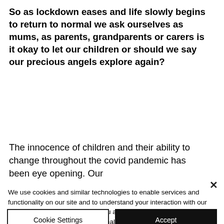So as lockdown eases and life slowly begins to return to normal we ask ourselves as mums, as parents, grandparents or carers is it okay to let our children or should we say our precious angels explore again?
The innocence of children and their ability to change throughout the covid pandemic has been eye opening. Our
We use cookies and similar technologies to enable services and functionality on our site and to understand your interaction with our service. By clicking on accept, you agree to our use of such technologies for marketing and analytics.
Cookie Settings
Accept